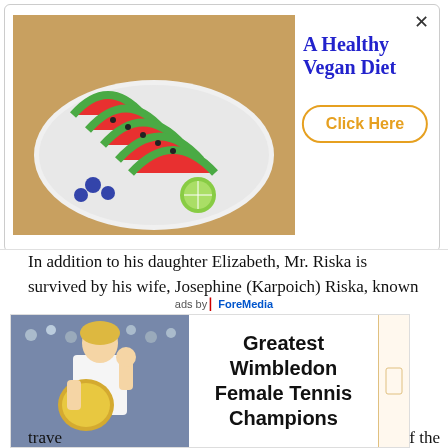[Figure (photo): Advertisement banner: watermelon slices on a white plate with blueberries and lime, titled 'A Healthy Vegan Diet' with a 'Click Here' button]
He retired in 2004, three years after the 9/11 attacks and their aftermath led the club to close permanently. The trophy, which is awarded by a vote of members of the sports media and past winners, was moved to various locations and is now held at the Heisman Trust's office in Manhattan.
In addition to his daughter Elizabeth, Mr. Riska is survived by his wife, Josephine (Karpoich) Riska, known as Lorraine; another daughter, Barbara Biersiak; and four grand
For a ... ho trave ... f the
[Figure (photo): Bottom advertisement: photo of female tennis player holding Wimbledon trophy, with text 'Greatest Wimbledon Female Tennis Champions'. Labeled 'ads by ForeMedia'.]